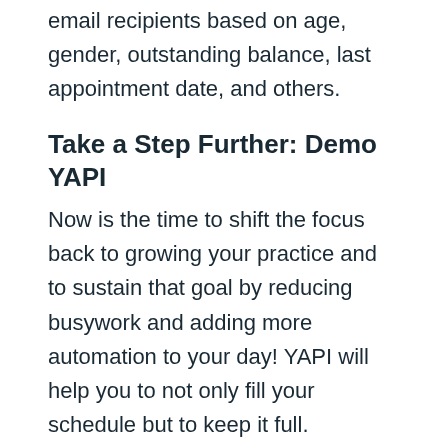email recipients based on age, gender, outstanding balance, last appointment date, and others.
Take a Step Further: Demo YAPI
Now is the time to shift the focus back to growing your practice and to sustain that goal by reducing busywork and adding more automation to your day! YAPI will help you to not only fill your schedule but to keep it full.
Good patient dental automation